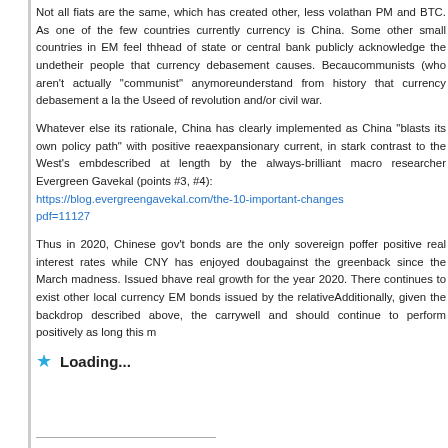Not all fiats are the same, which has created other, less vola... than PM and BTC. As one of the few countries currently... currency is China. Some other small countries in EM feel th... head of state or central bank publicly acknowledge the unde... their people that currency debasement causes. Becau... communists (who aren't actually "communist" anymore... understand from history that currency debasement a la the U... seed of revolution and/or civil war.
Whatever else its rationale, China has clearly implemented ... as China "blasts its own policy path" with positive rea... expansionary current, in stark contrast to the West's emb... described at length by the always-brilliant macro researcher... Evergreen Gavekal (points #3, #4): https://blog.evergreengavekal.com/the-10-important-changes... pdf=11127
Thus in 2020, Chinese gov't bonds are the only sovereign p... offer positive real interest rates while CNY has enjoyed doub... against the greenback since the March madness. Issued b... have real growth for the year 2020. There continues to exist ... other local currency EM bonds issued by the relative... Additionally, given the backdrop described above, the carry... well and should continue to perform positively as long this m...
Loading...